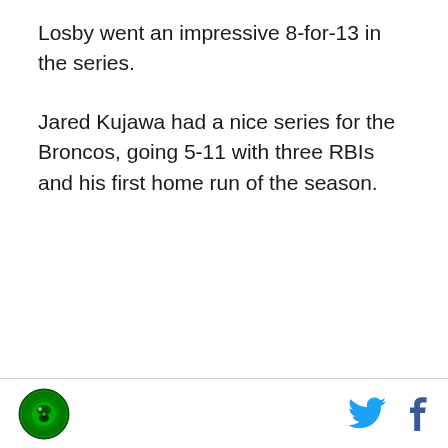Losby went an impressive 8-for-13 in the series.
Jared Kujawa had a nice series for the Broncos, going 5-11 with three RBIs and his first home run of the season.
Logo, Twitter icon, Facebook icon